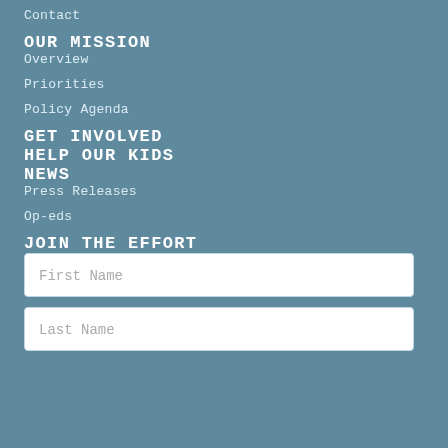Contact
OUR MISSION
Overview
Priorities
Policy Agenda
GET INVOLVED
HELP OUR KIDS
NEWS
Press Releases
Op-eds
JOIN THE EFFORT
First Name
Last Name